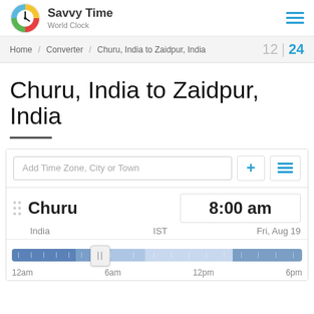Savvy Time World Clock
Home / Converter / Churu, India to Zaidpur, India   12 | 24
Churu, India to Zaidpur, India
Add Time Zone, City or Town
Churu   8:00 am   India   IST   Fri, Aug 19
[Figure (infographic): Timeline bar showing 24-hour period with thumb marker at 8am position. Labels: 12am, 6am, 12pm, 6pm]